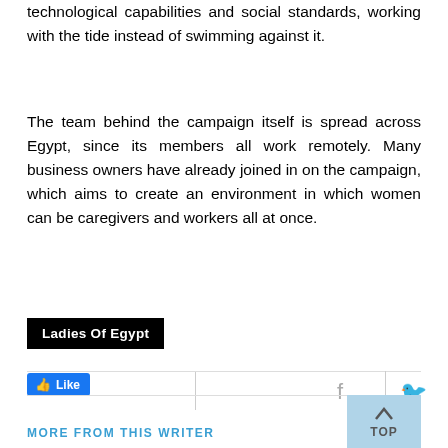technological capabilities and social standards, working with the tide instead of swimming against it.
The team behind the campaign itself is spread across Egypt, since its members all work remotely. Many business owners have already joined in on the campaign, which aims to create an environment in which women can be caregivers and workers all at once.
Ladies Of Egypt
[Figure (screenshot): Social media sharing bar with Facebook Like button, vertical divider, Facebook icon, vertical divider, Twitter bird icon]
[Figure (other): Blue 'TOP' button with upward arrow chevron for scrolling to top of page]
MORE FROM THIS WRITER